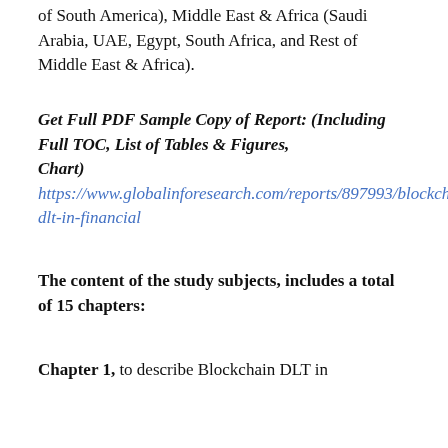of South America), Middle East & Africa (Saudi Arabia, UAE, Egypt, South Africa, and Rest of Middle East & Africa).
Get Full PDF Sample Copy of Report: (Including Full TOC, List of Tables & Figures, Chart) https://www.globalinforesearch.com/reports/897993/blockchain-dlt-in-financial
The content of the study subjects, includes a total of 15 chapters:
Chapter 1, to describe Blockchain DLT in